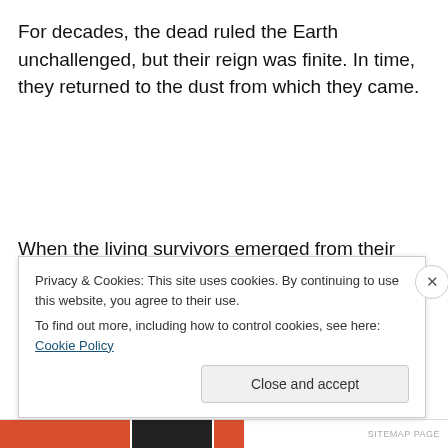For decades, the dead ruled the Earth unchallenged, but their reign was finite. In time, they returned to the dust from which they came.
When the living survivors emerged from their underground shelters, they would discover hundreds of thousands of tattered decaying messages, the letters left behind by the last to perish in the Zombie Apocalypse.
Privacy & Cookies: This site uses cookies. By continuing to use this website, you agree to their use. To find out more, including how to control cookies, see here: Cookie Policy
Close and accept